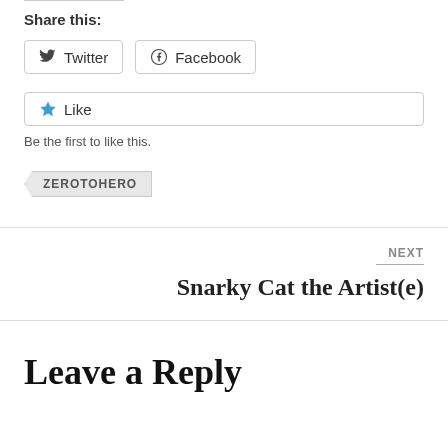Share this:
Twitter  Facebook
Like  Be the first to like this.
ZEROTOHERO
NEXT
Snarky Cat the Artist(e)
Leave a Reply